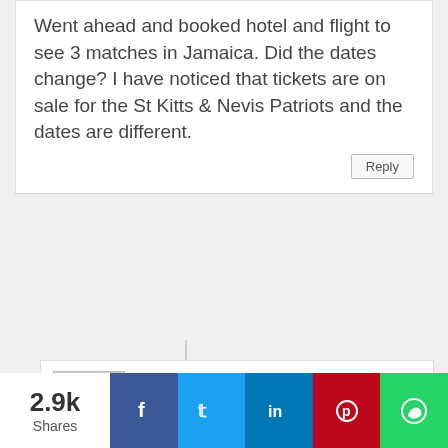Went ahead and booked hotel and flight to see 3 matches in Jamaica. Did the dates change? I have noticed that tickets are on sale for the St Kitts & Nevis Patriots and the dates are different.
Vish Punir
April 15, 2016 at 11:26 PM
Is it confirmed that a few games will be played in Florida? The Schedule does not suggest this
AL
June 18, 2016 at 7:27 PM
2.9k Shares